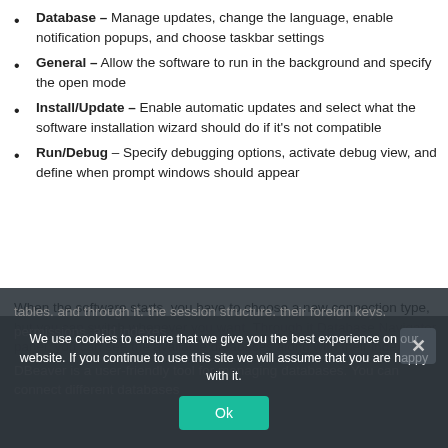Database – Manage updates, change the language, enable notification popups, and choose taskbar settings
General – Allow the software to run in the background and specify the open mode
Install/Update – Enable automatic updates and select what the software installation wizard should do if it's not compatible
Run/Debug – Specify debugging options, activate debug view, and define when prompt windows should appear
When the software starts, you have to choose a new connection type, but you can switch whenever you want. Through it Database Navigator panel, you can see the available databases along with their indexes,
We use cookies to ensure that we give you the best experience on our website. If you continue to use this site we will assume that you are happy with it.